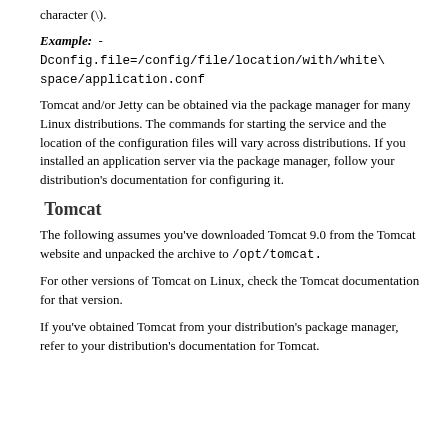character (\).
Example:  -
Dconfig.file=/config/file/location/with/white\
space/application.conf
Tomcat and/or Jetty can be obtained via the package manager for many Linux distributions. The commands for starting the service and the location of the configuration files will vary across distributions. If you installed an application server via the package manager, follow your distribution's documentation for configuring it.
Tomcat
The following assumes you've downloaded Tomcat 9.0 from the Tomcat website and unpacked the archive to /opt/tomcat.
For other versions of Tomcat on Linux, check the Tomcat documentation for that version.
If you've obtained Tomcat from your distribution's package manager, refer to your distribution's documentation for Tomcat.